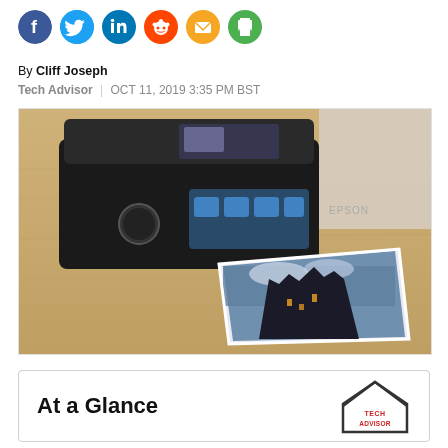[Figure (infographic): Social media sharing icons row: Facebook (blue), Twitter (light blue), LinkedIn (dark blue), Reddit (orange), Email (yellow/orange), Print (green)]
By Cliff Joseph
Tech Advisor  |  OCT 11, 2019 3:35 PM BST
[Figure (photo): Photo of a black Epson XP-8500 photo printer on a wooden table with a printed photograph of a castle/ship scene leaning against it]
At a Glance
[Figure (logo): Tech Advisor logo badge — house-shaped outline with TECH ADVISOR text in red]